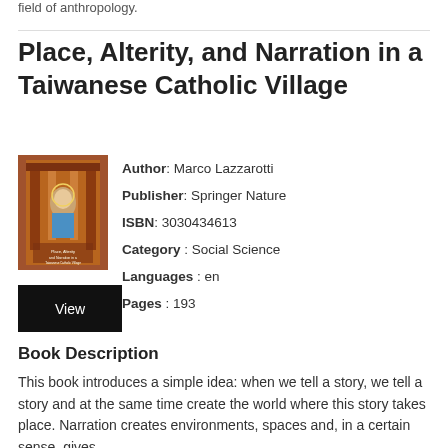field of anthropology.
Place, Alterity, and Narration in a Taiwanese Catholic Village
[Figure (illustration): Book cover of 'Place, Alterity, and Narration in a Taiwanese Catholic Village' showing a decorative religious/architectural motif with columns and a figure]
Author: Marco Lazzarotti
Publisher: Springer Nature
ISBN: 3030434613
Category: Social Science
Languages: en
Pages: 193
[Figure (other): Black button with white text reading 'View']
Book Description
This book introduces a simple idea: when we tell a story, we tell a story and at the same time create the world where this story takes place. Narration creates environments, spaces and, in a certain sense, gives